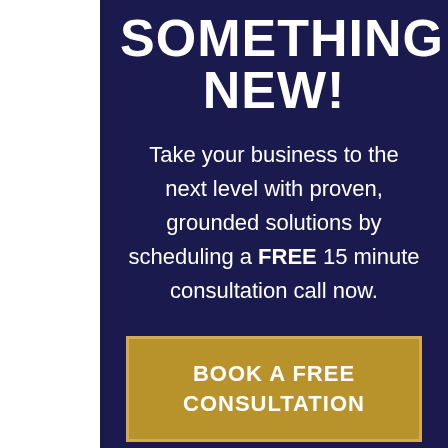SOMETHING NEW!
Take your business to the next level with proven, grounded solutions by scheduling a FREE 15 minute consultation call now.
BOOK A FREE CONSULTATION